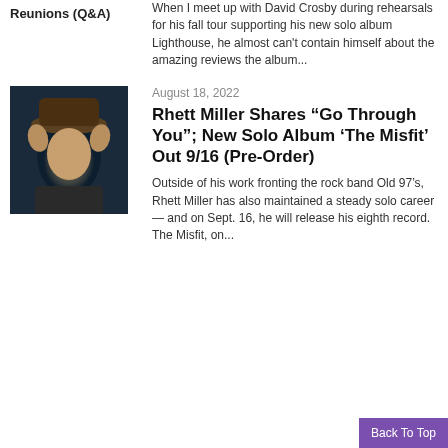Reunions (Q&A)
When I meet up with David Crosby during rehearsals for his fall tour supporting his new solo album Lighthouse, he almost can't contain himself about the amazing reviews the album...
August 18, 2022
[Figure (photo): Portrait of Rhett Miller wearing a wide-brimmed hat, hands raised near his face, dark background]
Rhett Miller Shares “Go Through You”; New Solo Album ‘The Misfit’ Out 9/16 (Pre-Order)
Outside of his work fronting the rock band Old 97’s, Rhett Miller has also maintained a steady solo career — and on Sept. 16, he will release his eighth record. The Misfit, on...
Back To Top